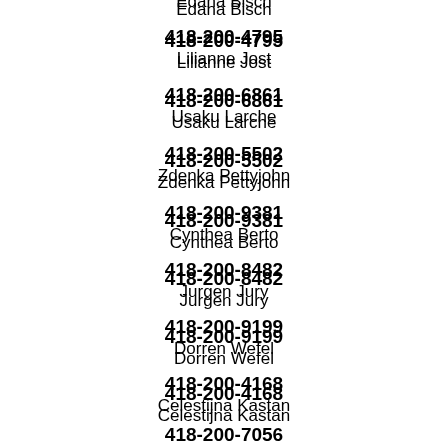Edana Bisch
418-200-4795
Lilianne Jost
418-200-6861
Usaku Larche
418-200-5502
Zdenka Pettyjohn
418-200-9381
Cynthea Berto
418-200-8482
Jurgen Jury
418-200-9199
Dorren Wefel
418-200-4168
Celestijna Kastan
418-200-7056
Dahl Salafia
418-200-5795